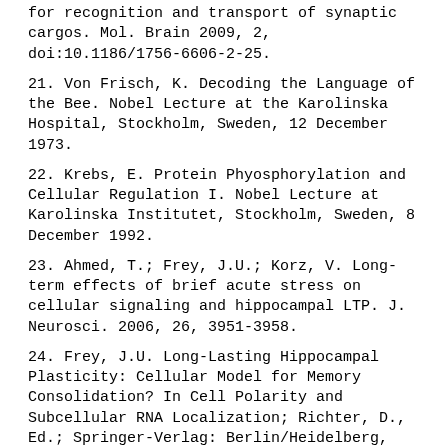for recognition and transport of synaptic cargos. Mol. Brain 2009, 2, doi:10.1186/1756-6606-2-25.
21. Von Frisch, K. Decoding the Language of the Bee. Nobel Lecture at the Karolinska Hospital, Stockholm, Sweden, 12 December 1973.
22. Krebs, E. Protein Phyosphorylation and Cellular Regulation I. Nobel Lecture at Karolinska Institutet, Stockholm, Sweden, 8 December 1992.
23. Ahmed, T.; Frey, J.U.; Korz, V. Long-term effects of brief acute stress on cellular signaling and hippocampal LTP. J. Neurosci. 2006, 26, 3951-3958.
24. Frey, J.U. Long-Lasting Hippocampal Plasticity: Cellular Model for Memory Consolidation? In Cell Polarity and Subcellular RNA Localization; Richter, D., Ed.; Springer-Verlag: Berlin/Heidelberg, Germany, 2001; pp. 27-40.
25. Fenker, D.B.; Frey, J.U.; Schuetze, H.; Heipertz, D.; Heinze, H.J.; Duzel, E. Novel scenes improve recollection and recall of words. J. Cogn. Neurosci. 2008, 20, 1250-1265.